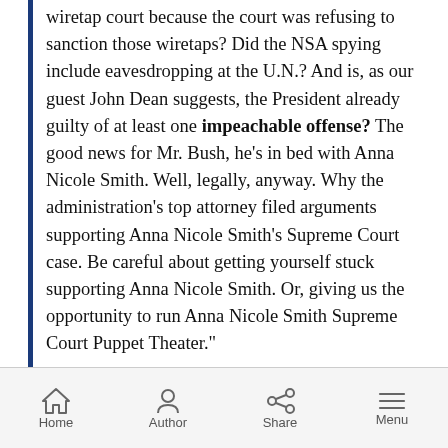wiretap court because the court was refusing to sanction those wiretaps? Did the NSA spying include eavesdropping at the U.N.? And is, as our guest John Dean suggests, the President already guilty of at least one impeachable offense? The good news for Mr. Bush, he's in bed with Anna Nicole Smith. Well, legally, anyway. Why the administration's top attorney filed arguments supporting Anna Nicole Smith's Supreme Court case. Be careful about getting yourself stuck supporting Anna Nicole Smith. Or, giving us the opportunity to run Anna Nicole Smith Supreme Court Puppet Theater."
Home  Author  Share  Menu